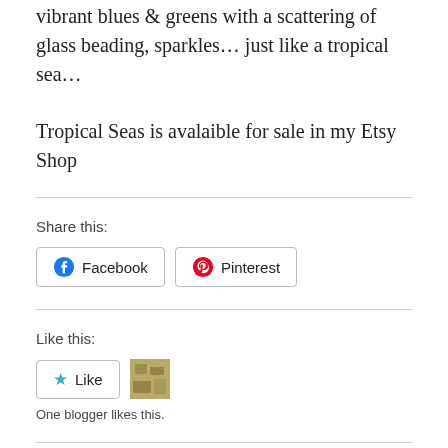vibrant blues & greens with a scattering of glass beading, sparkles… just like a tropical sea…
Tropical Seas is avalaible for sale in my Etsy Shop
Share this:
Like this:
One blogger likes this.